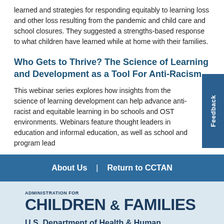learned and strategies for responding equitably to learning loss and other loss resulting from the pandemic and child care and school closures. They suggested a strengths-based response to what children have learned while at home with their families.
Who Gets to Thrive? The Science of Learning and Development as a Tool For Anti-Racism
This webinar series explores how insights from the science of learning development can help advance anti-racist and equitable learning in bo schools and OST environments. Webinars feature thought leaders in education and informal education, as well as school and program lead
About Us  |  Return to CCTAN
[Figure (logo): Administration for Children & Families logo with text: ADMINISTRATION FOR CHILDREN & FAMILIES, U.S. Department of Health & Human Services]